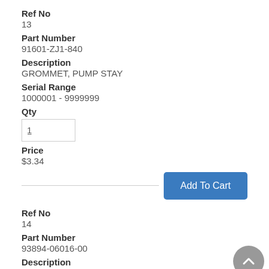Ref No
13
Part Number
91601-ZJ1-840
Description
GROMMET, PUMP STAY
Serial Range
1000001 - 9999999
Qty
1
Price
$3.34
Ref No
14
Part Number
93894-06016-00
Description
SCREW-WASHER (6X16)